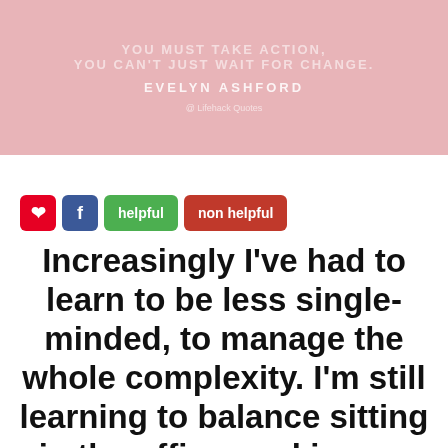[Figure (infographic): Pink banner with faded quote title text, attribution to EVELYN ASHFORD, and a small source label]
pinterest facebook helpful non helpful
Increasingly I've had to learn to be less single-minded, to manage the whole complexity. I'm still learning to balance sitting in the office cooking up schemes with the nuts and bolts of the...